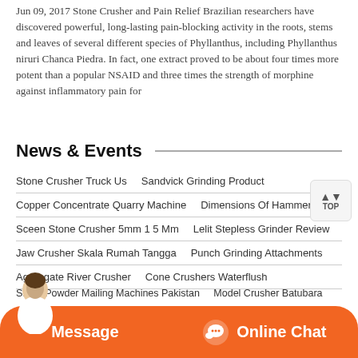Jun 09, 2017 Stone Crusher and Pain Relief Brazilian researchers have discovered powerful, long-lasting pain-blocking activity in the roots, stems and leaves of several different species of Phyllanthus, including Phyllanthus niruri Chanca Piedra. In fact, one extract proved to be about four times more potent than a popular NSAID and three times the strength of morphine against inflammatory pain for
News & Events
Stone Crusher Truck Us    Sandvick Grinding Product
Copper Concentrate Quarry Machine    Dimensions Of Hammer Mill
Sceen Stone Crusher 5mm 1 5 Mm    Lelit Stepless Grinder Review
Jaw Crusher Skala Rumah Tangga    Punch Grinding Attachments
Aggregate River Crusher    Cone Crushers Waterflush
Stone Powder Mailing Machines Pakistan    Model Crusher Batubara